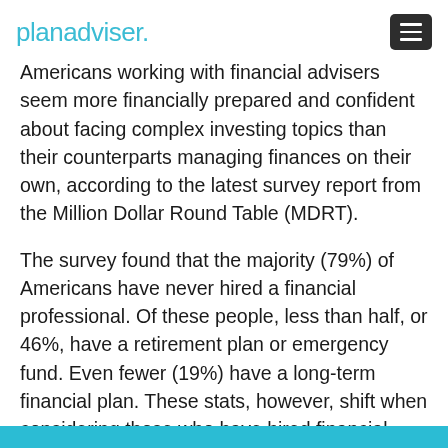planadviser.
Americans working with financial advisers seem more financially prepared and confident about facing complex investing topics than their counterparts managing finances on their own, according to the latest survey report from the Million Dollar Round Table (MDRT).
The survey found that the majority (79%) of Americans have never hired a financial professional. Of these people, less than half, or 46%, have a retirement plan or emergency fund. Even fewer (19%) have a long-term financial plan. These stats, however, shift when considering those who have hired financial advisers. For this group, 77% have a retirement plan or emergency fund and 50% have a